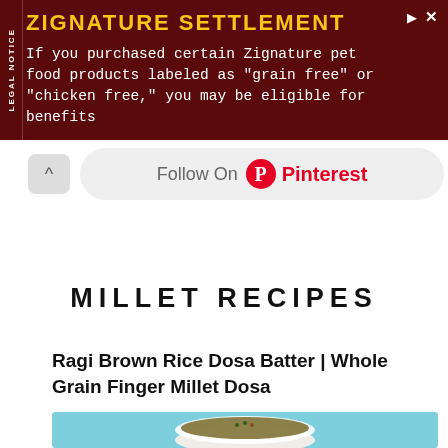[Figure (other): Advertisement banner with dark red background. Side label reads 'LEGAL NOTICE'. Title in yellow: 'ZIGNATURE SETTLEMENT'. Body text in white courier font: 'If you purchased certain Zignature pet food products labeled as "grain free" or "chicken free," you may be eligible for benefits']
[Figure (other): Pinterest follow button with upward caret, grey rounded rectangle background. Text reads: Follow On Pinterest]
MILLET RECIPES
Ragi Brown Rice Dosa Batter | Whole Grain Finger Millet Dosa
[Figure (photo): Food photo showing a white ramekin bowl filled with brown-green dosa batter garnished with curry leaves and seeds, on a light blue background]